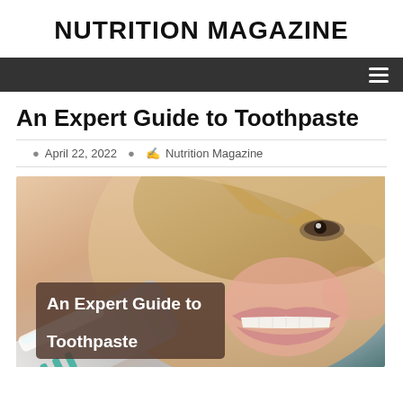NUTRITION MAGAZINE
An Expert Guide to Toothpaste
April 22, 2022  Nutrition Magazine
[Figure (photo): Close-up photo of a woman smiling with white teeth, holding a toothbrush near her mouth. An overlay box with semi-transparent dark brown background contains the text 'An Expert Guide to Toothpaste' in white bold font.]